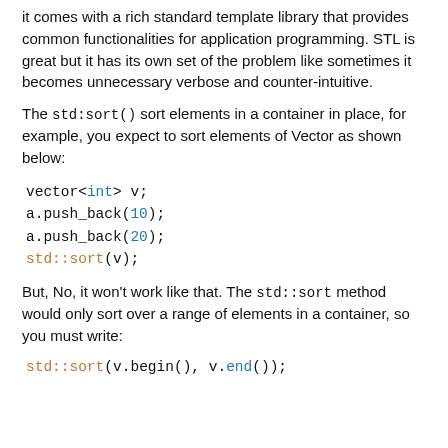it comes with a rich standard template library that provides common functionalities for application programming. STL is great but it has its own set of the problem like sometimes it becomes unnecessary verbose and counter-intuitive.
The std::sort() sort elements in a container in place, for example, you expect to sort elements of Vector as shown below:
vector<int> v;
a.push_back(10);
a.push_back(20);
std::sort(v);
But, No, it won't work like that. The std::sort method would only sort over a range of elements in a container, so you must write:
std::sort(v.begin(), v.end());